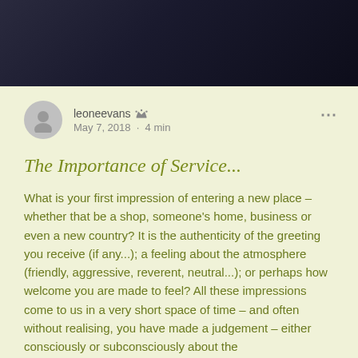[Figure (photo): Dark background photo bar at the top of the page, showing a dark/black surface, possibly an automobile or object in low light.]
leoneevans  Admin
May 7, 2018 · 4 min
The Importance of Service...
What is your first impression of entering a new place – whether that be a shop, someone's home, business or even a new country? It is the authenticity of the greeting you receive (if any...); a feeling about the atmosphere (friendly, aggressive, reverent, neutral...); or perhaps how welcome you are made to feel? All these impressions come to us in a very short space of time – and often without realising, you have made a judgement – either consciously or subconsciously about the